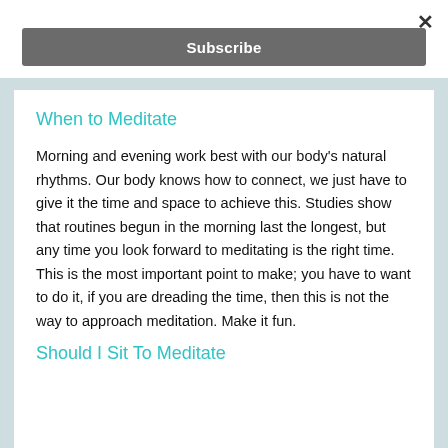Subscribe
When to Meditate
Morning and evening work best with our body's natural rhythms. Our body knows how to connect, we just have to give it the time and space to achieve this. Studies show that routines begun in the morning last the longest, but any time you look forward to meditating is the right time. This is the most important point to make; you have to want to do it, if you are dreading the time, then this is not the way to approach meditation. Make it fun.
Should I Sit To Meditate